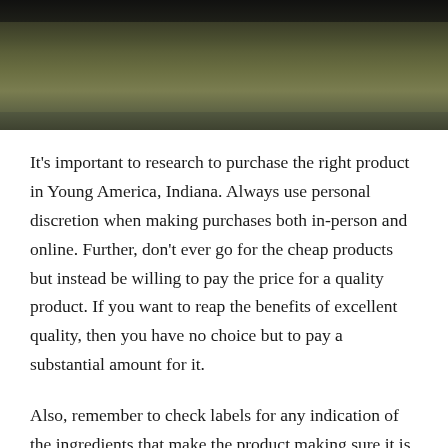[Figure (photo): Close-up photo of a dark object (bottle cap or container) resting on a mossy or earthy textured surface, viewed from above.]
It's important to research to purchase the right product in Young America, Indiana. Always use personal discretion when making purchases both in-person and online. Further, don't ever go for the cheap products but instead be willing to pay the price for a quality product. If you want to reap the benefits of excellent quality, then you have no choice but to pay a substantial amount for it.
Also, remember to check labels for any indication of the ingredients that make the product making sure it is hemp oil CBD. Any product that comes without a name or sign of ingredients is illegal and potentially dangerous. Even